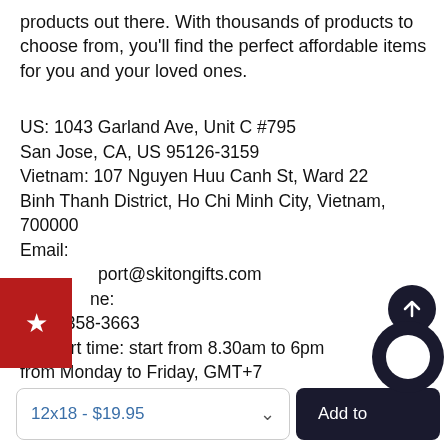products out there. With thousands of products to choose from, you'll find the perfect affordable items for you and your loved ones.
US: 1043 Garland Ave, Unit C #795
San Jose, CA, US 95126-3159
Vietnam: 107 Nguyen Huu Canh St, Ward 22
Binh Thanh District, Ho Chi Minh City, Vietnam, 700000
Email:
support@skitongifts.com
Phone:
(510) 358-3663
Support time: start from 8.30am to 6pm from Monday to Friday, GMT+7
[Figure (other): Red bookmark/favorite badge with white star icon overlaid on page left side]
[Figure (other): Dark circular scroll-to-top button with upward arrow icon]
[Figure (other): Dark circular chat/support bubble button]
12x18 - $19.95
Add to